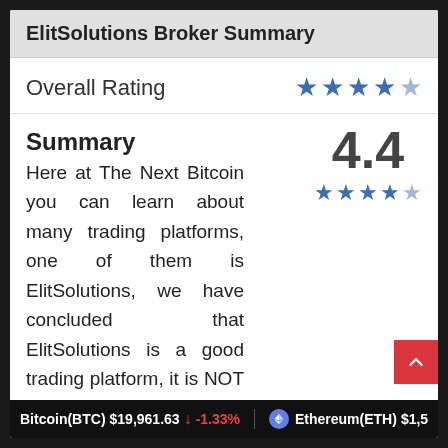ElitSolutions Broker Summary
Overall Rating
4.4
Summary
Here at The Next Bitcoin you can learn about many trading platforms, one of them is ElitSolutions, we have concluded that ElitSolutions is a good trading platform, it is NOT a scam! Read our ElitSolutions review today and
Bitcoin(BTC) $19,961.63 ↓ -1.33%     Ethereum(ETH) $1,5